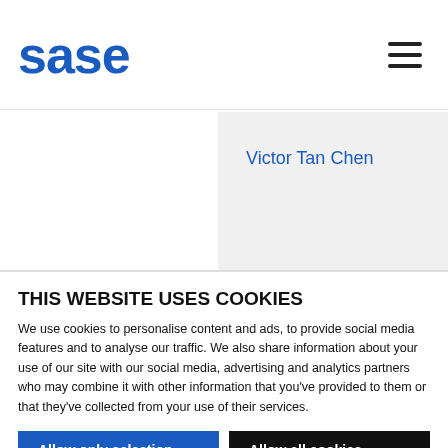sase
Victor Tan Chen
B: Globalization and Socio-
THIS WEBSITE USES COOKIES
We use cookies to personalise content and ads, to provide social media features and to analyse our traffic. We also share information about your use of our site with our social media, advertising and analytics partners who may combine it with other information that you've provided to them or that they've collected from your use of their services.
Allow only selection | Allow all cookies
Necessary | Preferences | Statistics | Marketing | Show details